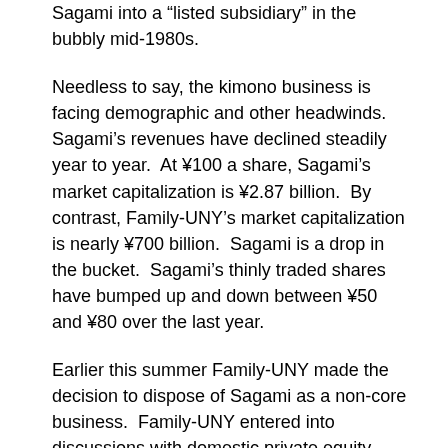Sagami into a 'listed subsidiary' in the bubbly mid-1980s.
Needless to say, the kimono business is facing demographic and other headwinds.  Sagami's revenues have declined steadily year to year.  At ¥100 a share, Sagami's market capitalization is ¥2.87 billion.  By contrast, Family-UNY's market capitalization is nearly ¥700 billion.  Sagami is a drop in the bucket.  Sagami's thinly traded shares have bumped up and down between ¥50 and ¥80 over the last year.
Earlier this summer Family-UNY made the decision to dispose of Sagami as a non-core business.  Family-UNY entered into discussions with domestic private equity fund Aspirant Group in which it was agreed that Family-UNY would accept a discounted tender offer for its shares at ¥56 a share.  Part of the deal included an agreement by Family-UNY to forgive ¥1.6 billion of parent company loans to Sagami.  The tender offer expires on October 11, 2016.
Enter New Horizon Capital, a rival domestic private equity fund, which in September offered Family-UNY better